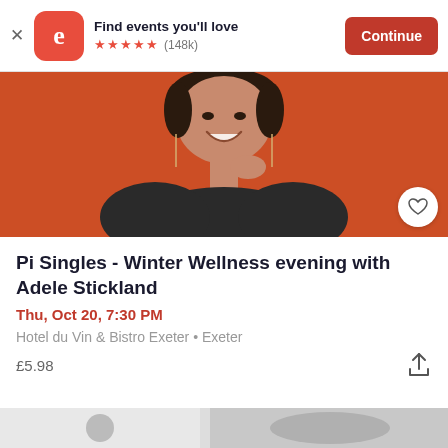Find events you'll love ★★★★★ (148k) Continue
[Figure (photo): Woman smiling on an orange background, posing with hand near chin, wearing dark patterned jacket and long earrings]
Pi Singles - Winter Wellness evening with Adele Stickland
Thu, Oct 20, 7:30 PM
Hotel du Vin & Bistro Exeter • Exeter
£5.98
[Figure (photo): Partial bottom strip showing another event image]